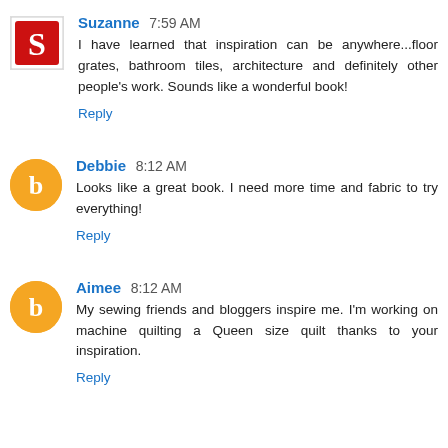Suzanne 7:59 AM
I have learned that inspiration can be anywhere...floor grates, bathroom tiles, architecture and definitely other people's work. Sounds like a wonderful book!
Reply
Debbie 8:12 AM
Looks like a great book. I need more time and fabric to try everything!
Reply
Aimee 8:12 AM
My sewing friends and bloggers inspire me. I'm working on machine quilting a Queen size quilt thanks to your inspiration.
Reply